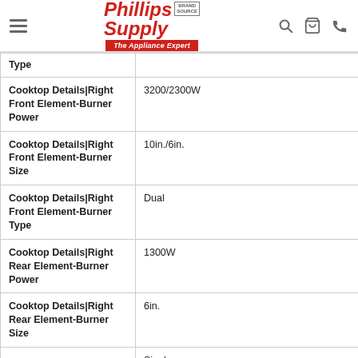Phillips Supply — The Appliance Expert
| Attribute | Value |
| --- | --- |
| Type |  |
| Cooktop Details|Right Front Element-Burner Power | 3200/2300W |
| Cooktop Details|Right Front Element-Burner Size | 10in./6in. |
| Cooktop Details|Right Front Element-Burner Type | Dual |
| Cooktop Details|Right Rear Element-Burner Power | 1300W |
| Cooktop Details|Right Rear Element-Burner Size | 6in. |
| Cooktop Details|Right Rear Element-Burner Type | Singl... |